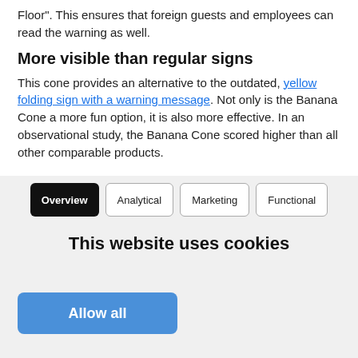Floor". This ensures that foreign guests and employees can read the warning as well.
More visible than regular signs
This cone provides an alternative to the outdated, yellow folding sign with a warning message. Not only is the Banana Cone a more fun option, it is also more effective. In an observational study, the Banana Cone scored higher than all other comparable products.
[Figure (screenshot): YouTube video thumbnail showing 'Banana Cone from Banana Produc...' with Banana Products LLC logo]
[Figure (screenshot): Cookie consent banner with tabs: Overview (active/black), Analytical, Marketing, Functional, and title 'This website uses cookies' with 'Allow all' blue button]